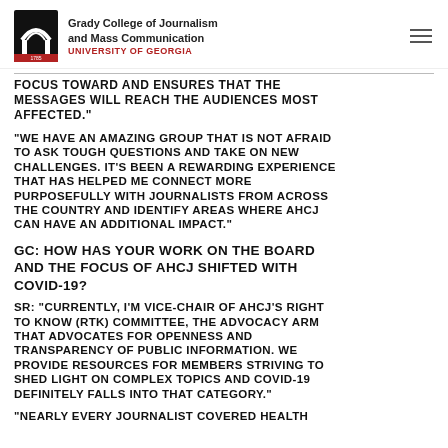Grady College of Journalism and Mass Communication — UNIVERSITY OF GEORGIA
FOCUS TOWARD AND ENSURES THAT THE MESSAGES WILL REACH THE AUDIENCES MOST AFFECTED.
“WE HAVE AN AMAZING GROUP THAT IS NOT AFRAID TO ASK TOUGH QUESTIONS AND TAKE ON NEW CHALLENGES. IT'S BEEN A REWARDING EXPERIENCE THAT HAS HELPED ME CONNECT MORE PURPOSEFULLY WITH JOURNALISTS FROM ACROSS THE COUNTRY AND IDENTIFY AREAS WHERE AHCJ CAN HAVE AN ADDITIONAL IMPACT.
GC: HOW HAS YOUR WORK ON THE BOARD AND THE FOCUS OF AHCJ SHIFTED WITH COVID-19?
SR: “CURRENTLY, I'M VICE-CHAIR OF AHCJ'S RIGHT TO KNOW (RTK) COMMITTEE, THE ADVOCACY ARM THAT ADVOCATES FOR OPENNESS AND TRANSPARENCY OF PUBLIC INFORMATION. WE PROVIDE RESOURCES FOR MEMBERS STRIVING TO SHED LIGHT ON COMPLEX TOPICS AND COVID-19 DEFINITELY FALLS INTO THAT CATEGORY.”
“NEARLY EVERY JOURNALIST COVERED HEALTH